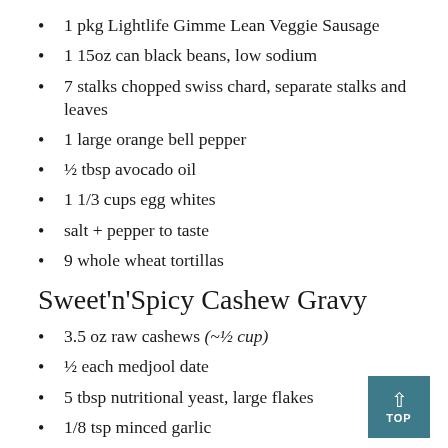1 pkg Lightlife Gimme Lean Veggie Sausage
1 15oz can black beans, low sodium
7 stalks chopped swiss chard, separate stalks and leaves
1 large orange bell pepper
½ tbsp avocado oil
1 1/3 cups egg whites
salt + pepper to taste
9 whole wheat tortillas
Sweet'n'Spicy Cashew Gravy
3.5 oz raw cashews (~½ cup)
½ each medjool date
5 tbsp nutritional yeast, large flakes
1/8 tsp minced garlic
½ tsp onion powder
¼ tsp salt
1/8 tsp black pepper